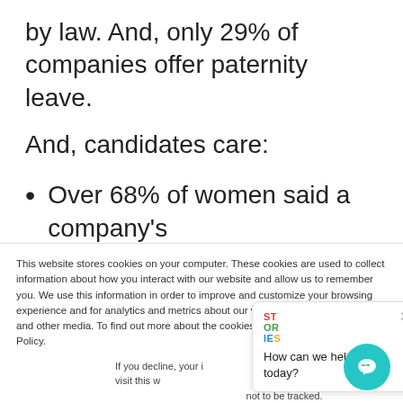by law. And, only 29% of companies offer paternity leave.
And, candidates care:
Over 68% of women said a company's
This website stores cookies on your computer. These cookies are used to collect information about how you interact with our website and allow us to remember you. We use this information in order to improve and customize your browsing experience and for analytics and metrics about our visitors both on this website and other media. To find out more about the cookies we use, see our Privacy Policy.
If you decline, your information won't be tracked when you visit this website. A single cookie will be used in your browser to remember your preference not to be tracked.
Accept
Decline
[Figure (screenshot): Chat widget popup with colorful STORIES logo and text 'How can we help you today?']
[Figure (illustration): Teal circular chat FAB button with chat icon]